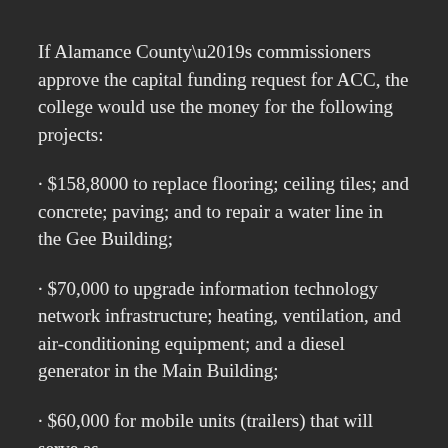If Alamance County’s commissioners approve the capital funding request for ACC, the college would use the money for the following projects:
· $158,8000 to replace flooring; ceiling tiles; and concrete; paving; and to repair a water line in the Gee Building;
· $70,000 to upgrade information technology network infrastructure; heating, ventilation, and air-conditioning equipment; and a diesel generator in the Main Building;
· $60,000 for mobile units (trailers) that will serve as